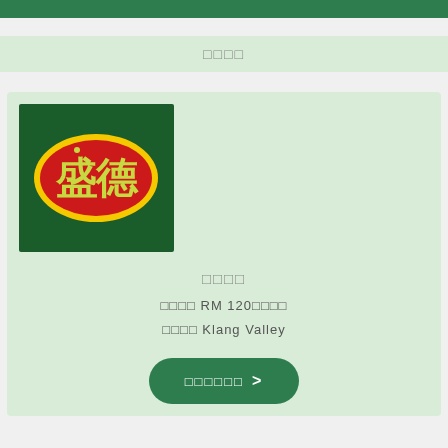□□□□
[Figure (logo): 盛德 brand logo: dark green square background with a red oval shape outlined in yellow containing Chinese characters 盛德 in yellow-green color]
□□□□
□□□□ RM 120□□□□
□□□□ Klang Valley
□□□□□□ >